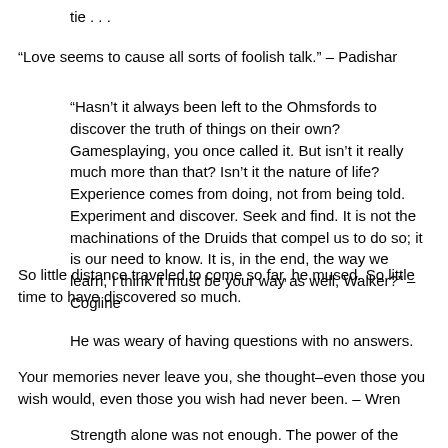tie . . .
“Love seems to cause all sorts of foolish talk.” – Padishar
“Hasn’t it always been left to the Ohmsfords to discover the truth of things on their own? Gamesplaying, you once called it. But isn’t it really much more than that? Isn’t it the nature of life? Experience comes from doing, not from being told. Experiment and discover. Seek and find. It is not the machinations of the Druids that compel us to do so; it is our need to know. It is, in the end, the way we learn, I think it must be your way as well, Walker?” – Cogline
So little distance traveled to come so far, he mused. So little time to have discovered so much.
He was weary of having questions with no answers.
Your memories never leave you, she thought–even those you wish would, even those you wish had never been. – Wren
Strength alone was not enough. The power of the Druid